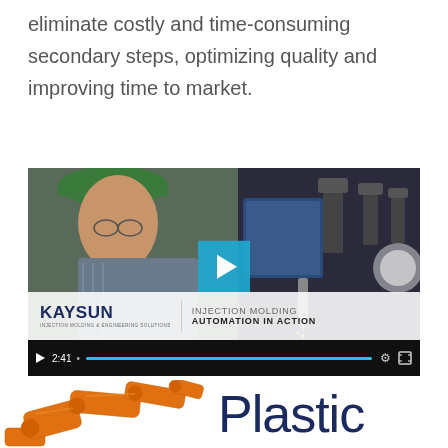eliminate costly and time-consuming secondary steps, optimizing quality and improving time to market.
[Figure (screenshot): Video thumbnail showing a worker in a green cap examining injection molding machinery. A play button overlay is visible in the center. The Kaysun logo (Injection Molding & Engineering Solutions) and text 'INJECTION MOLDING AUTOMATION IN ACTION' appear in a semi-transparent white bar at the bottom of the video frame. A video controls bar shows duration 2:41 and progress bar.]
Plastic